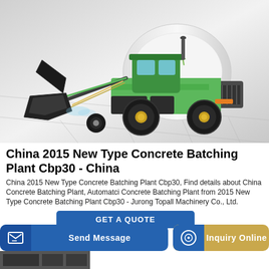[Figure (photo): Green and black concrete batching plant vehicle (self-loading concrete mixer truck, model CBP30) with a large loading bucket at the front, photographed against a light grey studio background with grid floor.]
China 2015 New Type Concrete Batching Plant Cbp30 - China
China 2015 New Type Concrete Batching Plant Cbp30, Find details about China Concrete Batching Plant, Automatci Concrete Batching Plant from 2015 New Type Concrete Batching Plant Cbp30 - Jurong Topall Machinery Co., Ltd.
GET A QUOTE
Send Message
Inquiry Online